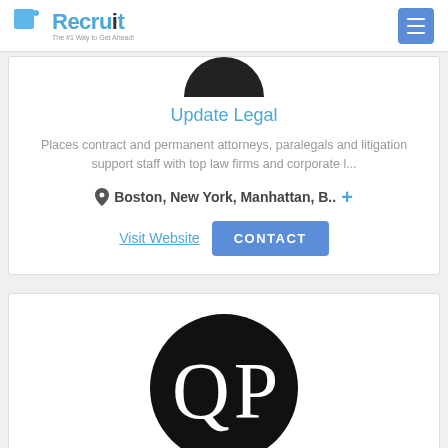Recruit — The #1 Way to Get Ahead!
Update Legal
Places contract and permanent attorneys, paralegals and litigation support staff with top law firms and corporate l...
Boston, New York, Manhattan, B.. +
Visit Website  CONTACT
[Figure (logo): QP logo — white letters QP on a black circle]